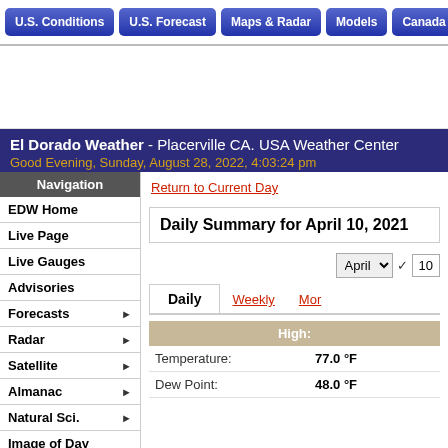U.S. Conditions | U.S. Forecast | Maps & Radar | Models | Canada | World W...
El Dorado Weather - Placerville CA. USA Weather Center
Good Evening, Sunday, August 28, 2022, 4:03:24 pm
Navigation
EDW Home
Live Page
Live Gauges
Advisories
Forecasts ▶
Radar ▶
Satellite ▶
Almanac ▶
Natural Sci. ▶
Image of Day
Return to Current Day
Daily Summary for April 10, 2021
|  | High: |
| --- | --- |
| Temperature: | 77.0 °F |
| Dew Point: | 48.0 °F |